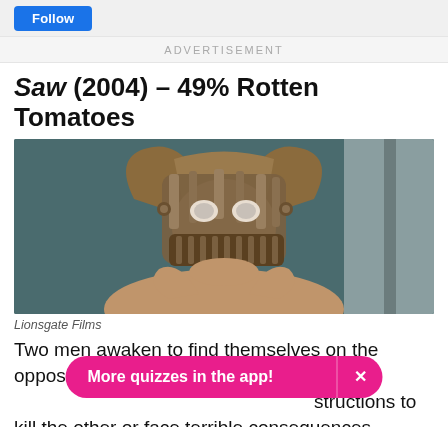ADVERTISEMENT
Saw (2004) – 49% Rotten Tomatoes
[Figure (photo): A woman wearing a metal trap/muzzle device on her face, a scene from the horror film Saw (2004), distributed by Lionsgate Films]
Lionsgate Films
Two men awaken to find themselves on the opposite sides of a d... structions to kill the other or face terrible consequences
More quizzes in the app!  ×